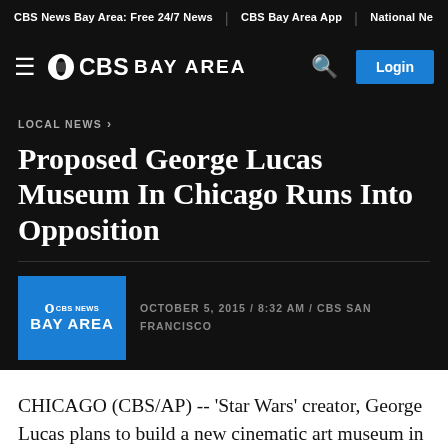CBS News Bay Area: Free 24/7 News | CBS Bay Area App | National Ne...
CBS BAY AREA — Login
LOCAL NEWS ›
Proposed George Lucas Museum In Chicago Runs Into Opposition
OCTOBER 5, 2015 / 8:32 AM / CBS SAN FRANCISCO
CHICAGO (CBS/AP) -- 'Star Wars' creator, George Lucas plans to build a new cinematic art museum in Chicago instead of San Francisco, but efforts to stop